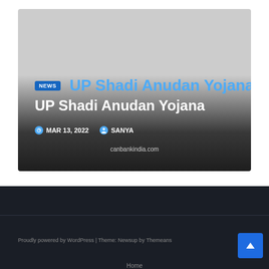[Figure (screenshot): Blog post card for UP Shadi Anudan Yojana with NEWS badge, gradient overlay, date MAR 13, 2022, author SANYA, and site canbankindia.com]
UP Shadi Anudan Yojana
MAR 13, 2022  SANYA
canbankindia.com
Proudly powered by WordPress | Theme: Newsup by Themeans
Home